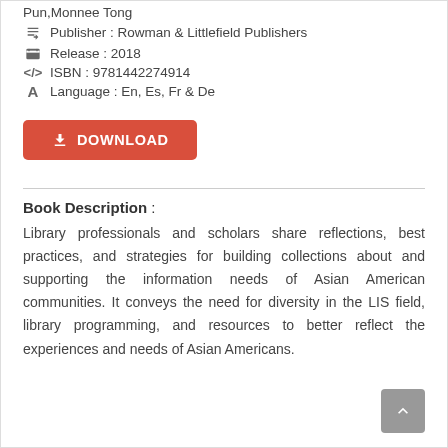Pun, Monnee Tong
Publisher : Rowman & Littlefield Publishers
Release : 2018
ISBN : 9781442274914
Language : En, Es, Fr & De
[Figure (other): Red download button with download icon and text DOWNLOAD]
Book Description :
Library professionals and scholars share reflections, best practices, and strategies for building collections about and supporting the information needs of Asian American communities. It conveys the need for diversity in the LIS field, library programming, and resources to better reflect the experiences and needs of Asian Americans.